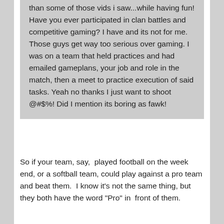than some of those vids i saw...while having fun! Have you ever participated in clan battles and competitive gaming? I have and its not for me. Those guys get way too serious over gaming. I was on a team that held practices and had emailed gameplans, your job and role in the match, then a meet to practice execution of said tasks. Yeah no thanks I just want to shoot @#$%! Did I mention its boring as fawk!
So if your team, say,  played football on the week end, or a softball team, could play against a pro team and beat them.  I know it's not the same thing, but they both have the word "Pro" in  front of them.